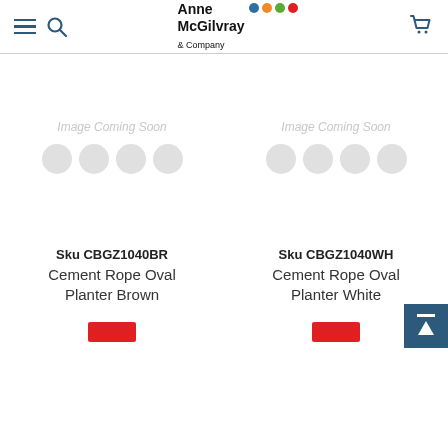Anne McGilvray & Company
[Figure (illustration): Image Coming Soon placeholder with four light grey circles for product CBGZ1040BR]
Sku CBGZ1040BR
Cement Rope Oval Planter Brown
[Figure (illustration): Image Coming Soon placeholder with four light grey circles for product CBGZ1040WH]
Sku CBGZ1040WH
Cement Rope Oval Planter White